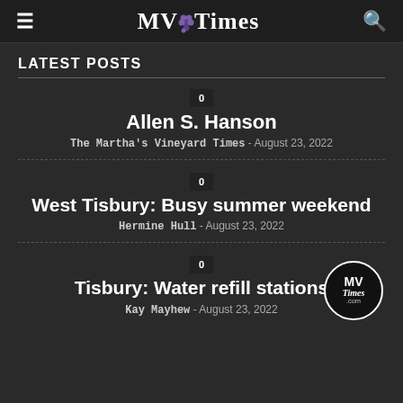MV Times
LATEST POSTS
Allen S. Hanson — The Martha's Vineyard Times - August 23, 2022
West Tisbury: Busy summer weekend — Hermine Hull - August 23, 2022
Tisbury: Water refill stations — Kay Mayhew - August 23, 2022